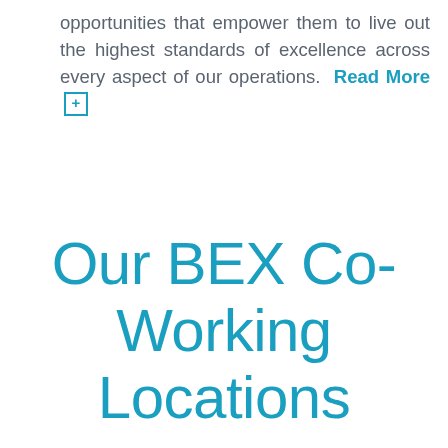opportunities that empower them to live out the highest standards of excellence across every aspect of our operations. Read More +
Our BEX Co-Working Locations